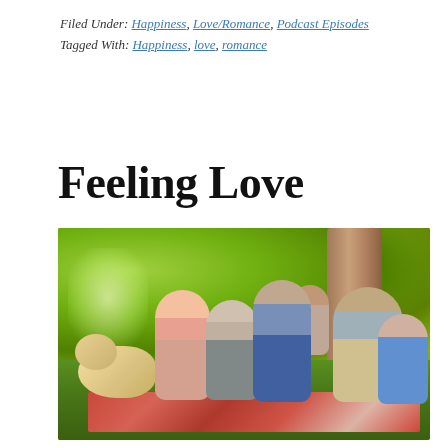Filed Under: Happiness, Love/Romance, Podcast Episodes
Tagged With: Happiness, love, romance
Feeling Love
[Figure (photo): A multi-generational family with a dog sitting together outdoors on a picnic blanket under a tree, smiling at the camera. The group includes a young woman, an older woman, a young man, an older man, two children, and a golden Labrador retriever. Background shows green trees and park setting.]